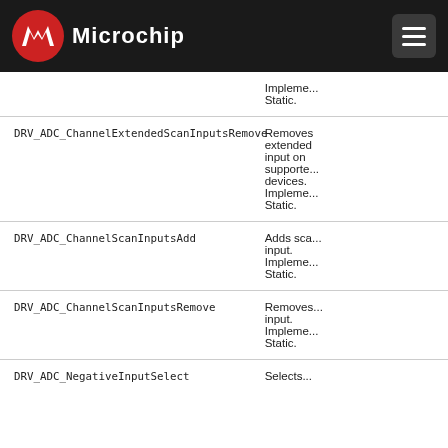Microchip
| Function Name | Description |
| --- | --- |
| (continuation) | Implemented as Static. |
| DRV_ADC_ChannelExtendedScanInputsRemove | Removes extended input on supported devices. Implemented as Static. |
| DRV_ADC_ChannelScanInputsAdd | Adds scan input. Implemented as Static. |
| DRV_ADC_ChannelScanInputsRemove | Removes input. Implemented as Static. |
| DRV_ADC_NegativeInputSelect | Selects... |